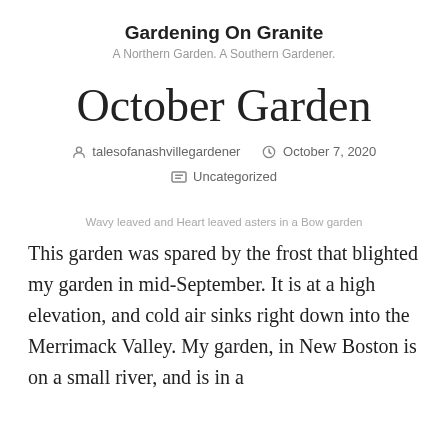Gardening On Granite
A Northern Garden. A Southern Gardener.
October Garden
talesofanashvillegardener   October 7, 2020   Uncategorized
Wavy leaved and Heart leaved asters in a Bow garden
This garden was spared by the frost that blighted my garden in mid-September. It is at a high elevation, and cold air sinks right down into the Merrimack Valley. My garden, in New Boston is on a small river, and is in a